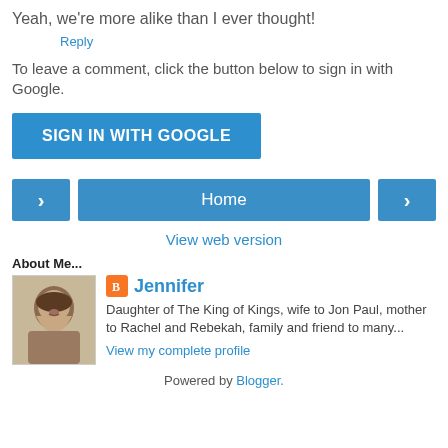Yeah, we're more alike than I ever thought!
Reply
To leave a comment, click the button below to sign in with Google.
[Figure (other): SIGN IN WITH GOOGLE button (blue rectangle with white text)]
[Figure (other): Navigation bar with left arrow button, Home button, and right arrow button]
View web version
About Me...
[Figure (photo): Profile photo of Jennifer, a woman with dark hair, in sepia/grayscale tone]
Jennifer
Daughter of The King of Kings, wife to Jon Paul, mother to Rachel and Rebekah, family and friend to many...
View my complete profile
Powered by Blogger.